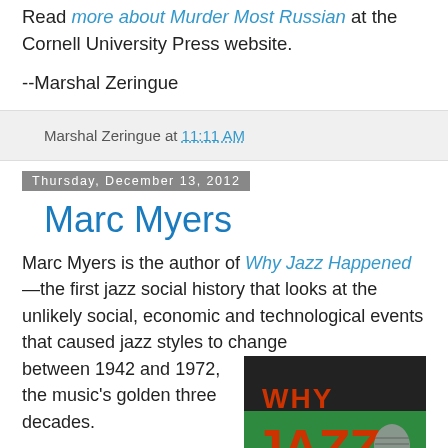Read more about Murder Most Russian at the Cornell University Press website.
--Marshal Zeringue
Marshal Zeringue at 11:11 AM
Thursday, December 13, 2012
Marc Myers
Marc Myers is the author of Why Jazz Happened—the first jazz social history that looks at the unlikely social, economic and technological events that caused jazz styles to change between 1942 and 1972, the music's golden three decades.
Myers is a frequent contributor to the Wall Street Journal, where he writes on music and
[Figure (photo): Book cover of 'Why Jazz Happened' showing the title in large orange/red letters on a teal/dark background with what appears to be a microphone]